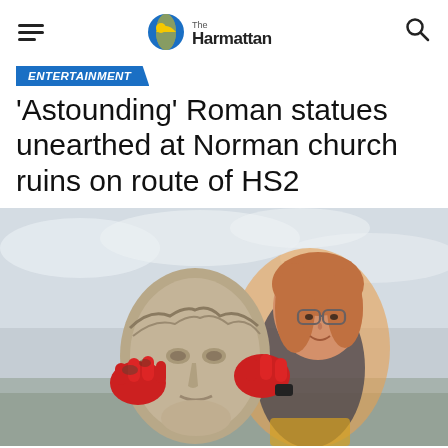The Harmattan
ENTERTAINMENT
'Astounding' Roman statues unearthed at Norman church ruins on route of HS2
[Figure (photo): A smiling woman with glasses and red gloves holds up a large Roman stone statue head. She is outdoors with an overcast sky behind her.]